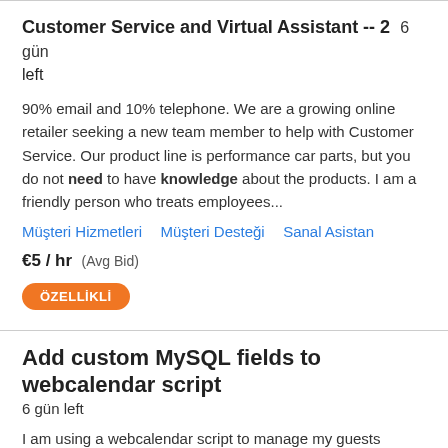Customer Service and Virtual Assistant -- 2  6 gün left
90% email and 10% telephone. We are a growing online retailer seeking a new team member to help with Customer Service. Our product line is performance car parts, but you do not need to have knowledge about the products. I am a friendly person who treats employees...
Müşteri Hizmetleri   Müşteri Desteği   Sanal Asistan
€5 / hr  (Avg Bid)
ÖZELLİKLİ
Add custom MySQL fields to webcalendar script
6 gün left
I am using a webcalendar script to manage my guests reservations. I need to add some additional custom fields to form while creating new entry, depending on